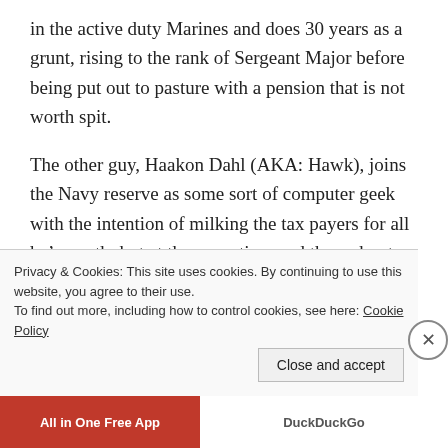in the active duty Marines and does 30 years as a grunt, rising to the rank of Sergeant Major before being put out to pasture with a pension that is not worth spit.
The other guy, Haakon Dahl (AKA: Hawk), joins the Navy reserve as some sort of computer geek with the intention of milking the tax payers for all he’s worth; but at the same time and throughout his career, he takes every precaution to ensure that the greatest risk he will ever face are paper cuts and swear words.
The American attacks on 9/11 and G... [partial, cut off]
Privacy & Cookies: This site uses cookies. By continuing to use this website, you agree to their use.
To find out more, including how to control cookies, see here: Cookie Policy
Close and accept
All in One Free App | DuckDuckGo